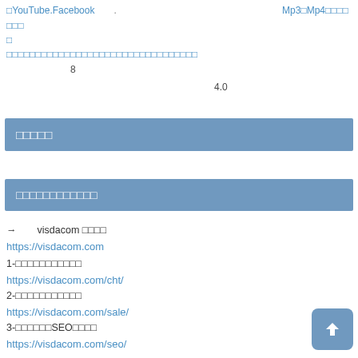□YouTube.Facebook　　. 　　　　　　　　Mp3□Mp4□□□□ □□□ □ □□□□□□□□□□□□□□□□□□□□□□□□□□□□ 8 4.0
□□□□□
□□□□□□□□□□□□
→　　visdacom □□□□
https://visdacom.com
1-□□□□□□□□□□□
https://visdacom.com/cht/
2-□□□□□□□□□□□
https://visdacom.com/sale/
3-□□□□□□SEO□□□□
https://visdacom.com/seo/